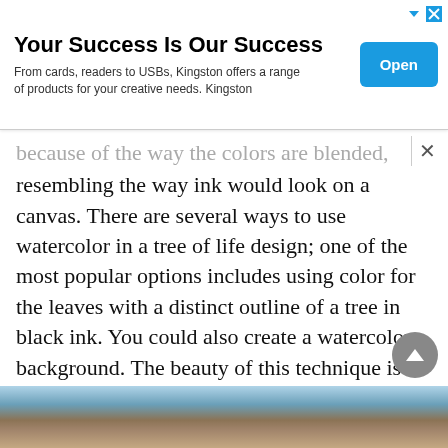[Figure (other): Advertisement banner: 'Your Success Is Our Success' by Kingston. Text: 'From cards, readers to USBs, Kingston offers a range of products for your creative needs. Kingston'. Blue 'Open' button on the right.]
...because of the way the colors are blended, resembling the way ink would look on a canvas. There are several ways to use watercolor in a tree of life design; one of the most popular options includes using color for the leaves with a distinct outline of a tree in black ink. You could also create a watercolor background. The beauty of this technique is that it allows you to be as creative as you want! The downside is that watercolor pieces can fade or blur faster.
[Figure (photo): Partial photo visible at the bottom of the page showing what appears to be a close-up of skin or a tattoo.]